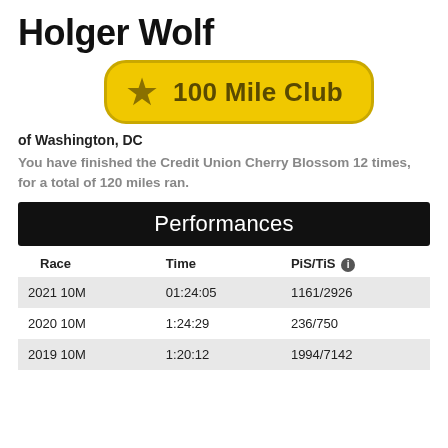Holger Wolf
[Figure (infographic): Gold badge with star icon and text '100 Mile Club']
of Washington, DC
You have finished the Credit Union Cherry Blossom 12 times, for a total of 120 miles ran.
Performances
| Race | Time | PiS/TiS |
| --- | --- | --- |
| 2021 10M | 01:24:05 | 1161/2926 |
| 2020 10M | 1:24:29 | 236/750 |
| 2019 10M | 1:20:12 | 1994/7142 |